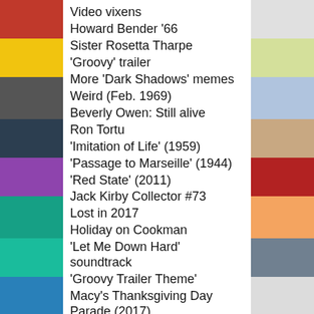Video vixens
Howard Bender '66
Sister Rosetta Tharpe
‘Groovy’ trailer
More ‘Dark Shadows’ memes
Weird (Feb. 1969)
Beverly Owen: Still alive
Ron Tortu
‘Imitation of Life’ (1959)
‘Passage to Marseille’ (1944)
‘Red State’ (2011)
Jack Kirby Collector #73
Lost in 2017
Holiday on Cookman
‘Let Me Down Hard’ soundtrack
‘Groovy Trailer Theme’
Macy’s Thanksgiving Day Parade (2017)
Old comic books 2
Old comic books 1
Chance encounters